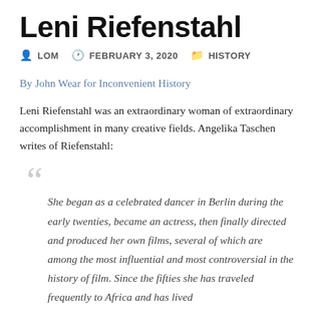Leni Riefenstahl
LOM  FEBRUARY 3, 2020  HISTORY
By John Wear for Inconvenient History
Leni Riefenstahl was an extraordinary woman of extraordinary accomplishment in many creative fields. Angelika Taschen writes of Riefenstahl:
She began as a celebrated dancer in Berlin during the early twenties, became an actress, then finally directed and produced her own films, several of which are among the most influential and most controversial in the history of film. Since the fifties she has traveled frequently to Africa and has lived